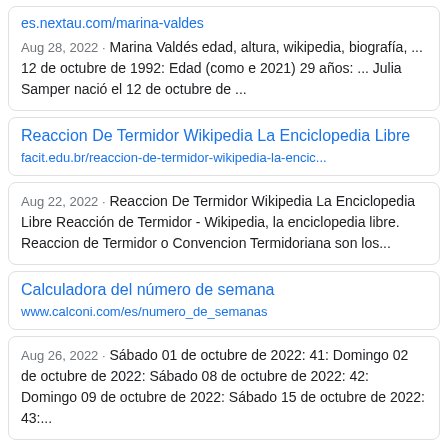es.nextau.com/marina-valdes
Aug 28, 2022 · Marina Valdés edad, altura, wikipedia, biografía, ... 12 de octubre de 1992: Edad (como e 2021) 29 años: ... Julia Samper nació el 12 de octubre de ...
Reaccion De Termidor Wikipedia La Enciclopedia Libre
facit.edu.br/reaccion-de-termidor-wikipedia-la-encic...
Aug 22, 2022 · Reaccion De Termidor Wikipedia La Enciclopedia Libre Reacción de Termidor - Wikipedia, la enciclopedia libre. Reaccion de Termidor o Convencion Termidoriana son los...
Calculadora del número de semana
www.calconi.com/es/numero_de_semanas
Aug 26, 2022 · Sábado 01 de octubre de 2022: 41: Domingo 02 de octubre de 2022: Sábado 08 de octubre de 2022: 42: Domingo 09 de octubre de 2022: Sábado 15 de octubre de 2022: 43:...